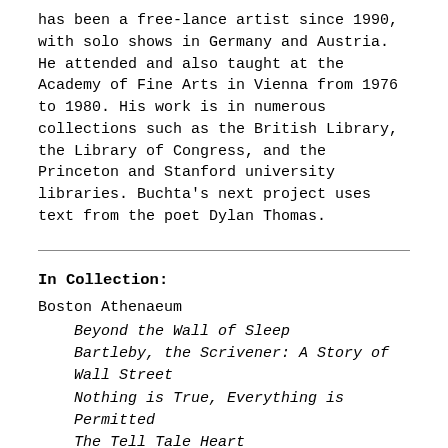has been a free-lance artist since 1990, with solo shows in Germany and Austria. He attended and also taught at the Academy of Fine Arts in Vienna from 1976 to 1980. His work is in numerous collections such as the British Library, the Library of Congress, and the Princeton and Stanford university libraries. Buchta's next project uses text from the poet Dylan Thomas.
In Collection:
Boston Athenaeum
Beyond the Wall of Sleep
Bartleby, the Scrivener: A Story of Wall Street
Nothing is True, Everything is Permitted
The Tell Tale Heart
Bowdoin College